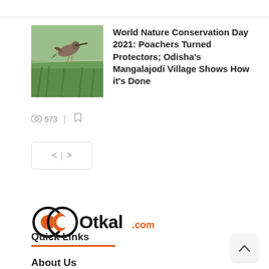[Figure (photo): Thumbnail image of a bird (appears to be a snipe or similar wading bird) in flight over green grass, with rounded corners]
World Nature Conservation Day 2021: Poachers Turned Protectors; Odisha's Mangalajodi Village Shows How it's Done
573
[Figure (logo): OOtkal.com logo — two interlocking circular shapes in black and orange with the text 'OOtkal' in bold black and '.com' in orange]
Quick Links
About Us